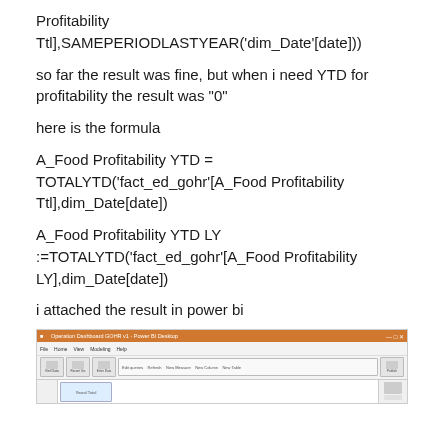Profitability Ttl],SAMEPERIODLASTYEAR('dim_Date'[date]))
so far the result was fine, but when i need YTD for profitability the result was "0"
here is the formula
A_Food Profitability YTD = TOTALYTD('fact_ed_gohr'[A_Food Profitability Ttl],dim_Date[date])
A_Food Profitability YTD LY :=TOTALYTD('fact_ed_gohr'[A_Food Profitability LY],dim_Date[date])
i attached the result in power bi
[Figure (screenshot): A screenshot of Power BI Desktop application showing the ribbon toolbar and canvas area]